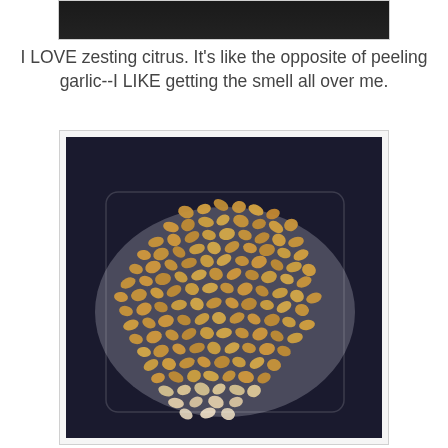[Figure (photo): Partial view of a dark image at the top of the page, likely a previous photo cropped at the top edge.]
I LOVE zesting citrus. It's like the opposite of peeling garlic--I LIKE getting the smell all over me.
[Figure (photo): Photo of a large pile of chopped nuts (appears to be pine nuts or chopped cashews) spread out on a clear plastic bag or parchment paper on a dark surface.]